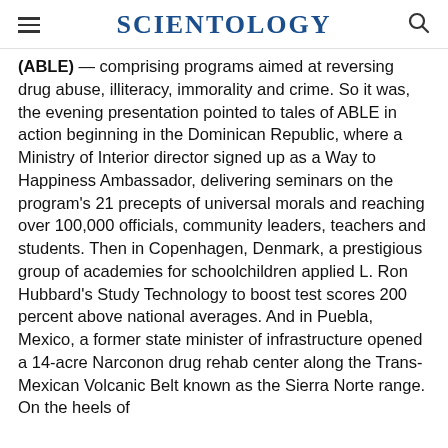SCIENTOLOGY
(ABLE) — comprising programs aimed at reversing drug abuse, illiteracy, immorality and crime. So it was, the evening presentation pointed to tales of ABLE in action beginning in the Dominican Republic, where a Ministry of Interior director signed up as a Way to Happiness Ambassador, delivering seminars on the program's 21 precepts of universal morals and reaching over 100,000 officials, community leaders, teachers and students. Then in Copenhagen, Denmark, a prestigious group of academies for schoolchildren applied L. Ron Hubbard's Study Technology to boost test scores 200 percent above national averages. And in Puebla, Mexico, a former state minister of infrastructure opened a 14-acre Narconon drug rehab center along the Trans-Mexican Volcanic Belt known as the Sierra Norte range. On the heels of